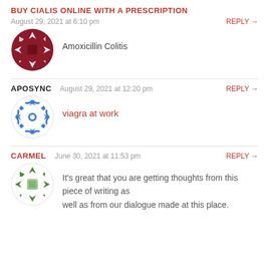BUY CIALIS ONLINE WITH A PRESCRIPTION
August 29, 2021 at 6:10 pm
REPLY →
[Figure (illustration): Dark red geometric avatar icon, circular with a symmetrical pattern of arrows/chevrons]
Amoxicillin Colitis
APOSYNC  August 29, 2021 at 12:20 pm
REPLY →
[Figure (illustration): Blue geometric avatar icon, circular with a symmetrical pattern of arrows/chevrons in blue]
viagra at work
CARMEL  June 30, 2021 at 11:53 pm
REPLY →
[Figure (illustration): Green geometric avatar icon, circular with a symmetrical pattern of arrows/chevrons in green]
It's great that you are getting thoughts from this piece of writing as well as from our dialogue made at this place.